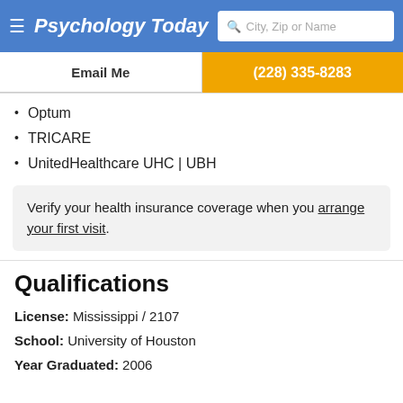Psychology Today | City, Zip or Name
Email Me | (228) 335-8283
Optum
TRICARE
UnitedHealthcare UHC | UBH
Verify your health insurance coverage when you arrange your first visit.
Qualifications
License: Mississippi / 2107
School: University of Houston
Year Graduated: 2006